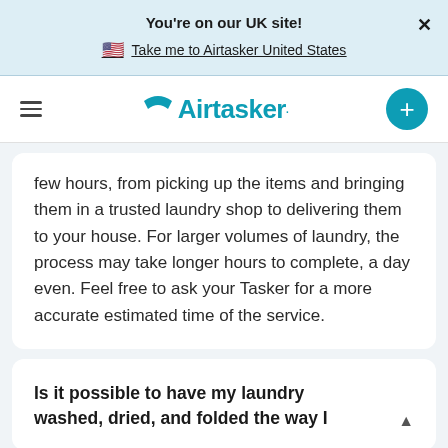You're on our UK site!
Take me to Airtasker United States
[Figure (logo): Airtasker logo with nav menu icon and plus button]
few hours, from picking up the items and bringing them in a trusted laundry shop to delivering them to your house. For larger volumes of laundry, the process may take longer hours to complete, a day even. Feel free to ask your Tasker for a more accurate estimated time of the service.
Is it possible to have my laundry washed, dried, and folded the way I